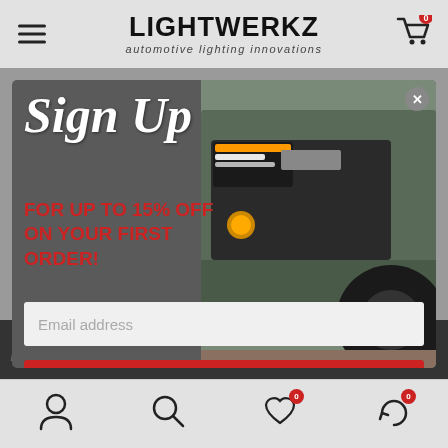LIGHTWERKZ automotive lighting innovations
[Figure (screenshot): Sign Up modal popup with truck image. Text: Sign Up FOR UP TO 15% OFF ON YOUR FIRST ORDER! Email address field and JOIN NOW button.]
Sign Up
FOR UP TO 15% OFF ON YOUR FIRST ORDER!
Email address
JOIN NOW
LIGHTWERKZ
Navigation icons: account, search, wishlist (0), orders (0)